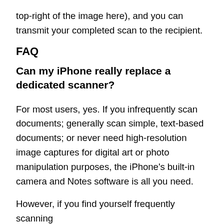top-right of the image here), and you can transmit your completed scan to the recipient.
FAQ
Can my iPhone really replace a dedicated scanner?
For most users, yes. If you infrequently scan documents; generally scan simple, text-based documents; or never need high-resolution image captures for digital art or photo manipulation purposes, the iPhone's built-in camera and Notes software is all you need.
However, if you find yourself frequently scanning